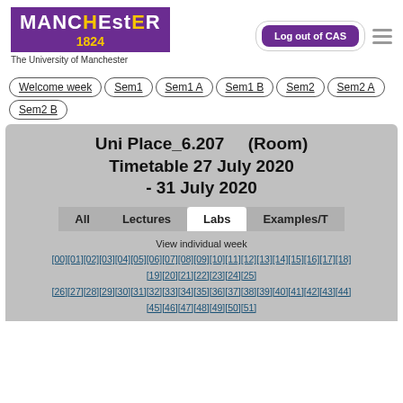[Figure (logo): University of Manchester logo: purple box with MANCHESTER text, 1824 in yellow, subtitle 'The University of Manchester']
Log out of CAS
Welcome week
Sem1
Sem1 A
Sem1 B
Sem2
Sem2 A
Sem2 B
Uni Place_6.207     (Room)
Timetable 27 July 2020 - 31 July 2020
All   Lectures   Labs   Examples/T
View individual week
[00][01][02][03][04][05][06][07][08][09][10][11][12][13][14][15][16][17][18]
[19][20][21][22][23][24][25]
[26][27][28][29][30][31][32][33][34][35][36][37][38][39][40][41][42][43][44]
[45][46][47][48][49][50][51]